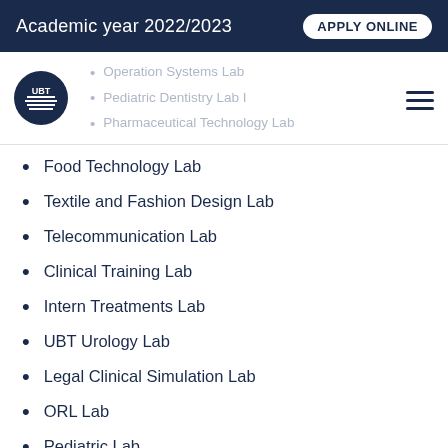Academic year 2022/2023  APPLY ONLINE
Operation Systems Lab
Pediatric Dentistry Lab I
Pharmaceutical Technology Lab
Food Technology Lab
Textile and Fashion Design Lab
Telecommunication Lab
Clinical Training Lab
Intern Treatments Lab
UBT Urology Lab
Legal Clinical Simulation Lab
ORL Lab
Pediatric Lab
Business Simulation Lab
Clinical Skills Lab